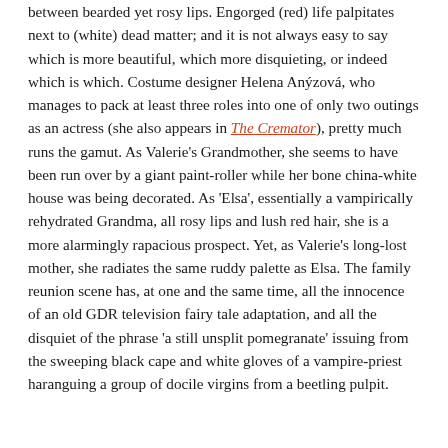between bearded yet rosy lips. Engorged (red) life palpitates next to (white) dead matter; and it is not always easy to say which is more beautiful, which more disquieting, or indeed which is which. Costume designer Helena Anýzová, who manages to pack at least three roles into one of only two outings as an actress (she also appears in The Cremator), pretty much runs the gamut. As Valerie's Grandmother, she seems to have been run over by a giant paint-roller while her bone china-white house was being decorated. As 'Elsa', essentially a vampirically rehydrated Grandma, all rosy lips and lush red hair, she is a more alarmingly rapacious prospect. Yet, as Valerie's long-lost mother, she radiates the same ruddy palette as Elsa. The family reunion scene has, at one and the same time, all the innocence of an old GDR television fairy tale adaptation, and all the disquiet of the phrase 'a still unsplit pomegranate' issuing from the sweeping black cape and white gloves of a vampire-priest haranguing a group of docile virgins from a beetling pulpit.